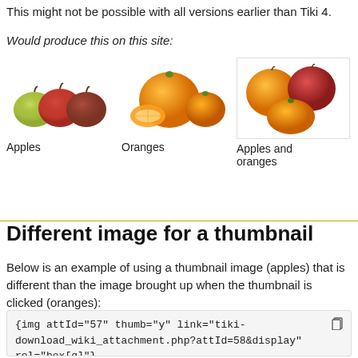This might not be possible with all versions earlier than Tiki 4.
Would produce this on this site:
[Figure (illustration): Three fruit images displayed in a gallery: Apples (three apples), Oranges (oranges with a slice), and Apples and oranges (mixed apples and oranges), each with a text label beneath.]
Different image for a thumbnail
Below is an example of using a thumbnail image (apples) that is different than the image brought up when the thumbnail is clicked (oranges):
{img attId="57" thumb="y" link="tiki-download_wiki_attachment.php?attId=58&display" rel="box[g]"}